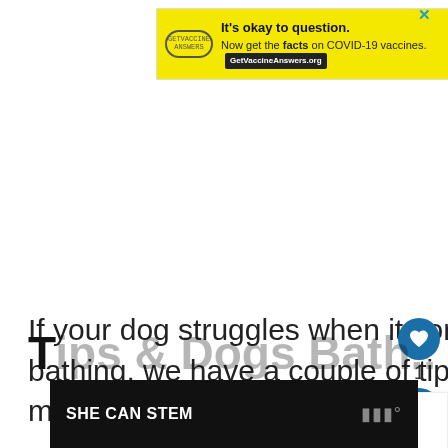[Figure (screenshot): Yellow advertisement banner: 'It's okay to question. Now get the facts on COVID-19 vaccines. GetVaccineAnswers.org' with a stamp logo on left and close X button.]
If your dog struggles when it comes to bathing, we have a couple of tips on how to make them calmer.
[Figure (other): What's Next widget showing a dog image and text 'How Often Should You...']
[Figure (screenshot): Bottom advertisement banner with dark background showing 'SHE CAN STEM' text in white and a logo on the right.]